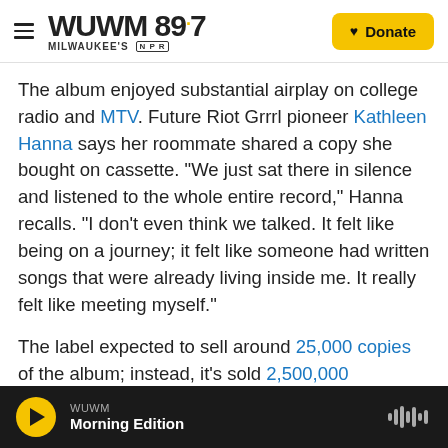WUWM 89.7 MILWAUKEE'S NPR — Donate
The album enjoyed substantial airplay on college radio and MTV. Future Riot Grrrl pioneer Kathleen Hanna says her roommate shared a copy she bought on cassette. "We just sat there in silence and listened to the whole entire record," Hanna recalls. "I don't even think we talked. It felt like being on a journey; it felt like someone had written songs that were already living inside me. It really felt like meeting myself."
The label expected to sell around 25,000 copies of the album; instead, it's sold 2,500,000 worldwide. The Lion and the Cobra earned O'Connor a 1989
WUWM — Morning Edition